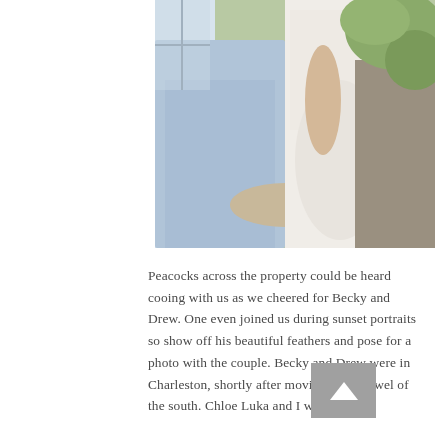[Figure (photo): Close-up wedding photo showing a groom in a light blue suit with his arm around a bride in a white lace dress, photographed from mid-torso down, with greenery in the background.]
Peacocks across the property could be heard cooing with us as we cheered for Becky and Drew. One even joined us during sunset portraits so show off his beautiful feathers and pose for a photo with the couple. Becky and Drew were in Charleston, shortly after moving to the jewel of the south. Chloe Luka and I were elated